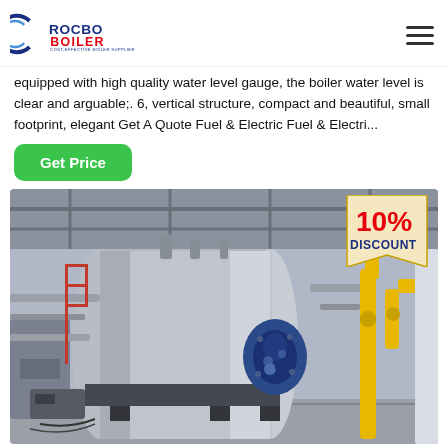ROCBO BOILER - Cost-Effective Boiler Supplier
equipped with high quality water level gauge, the boiler water level is clear and arguable;. 6, vertical structure, compact and beautiful, small footprint, elegant Get A Quote Fuel & Electric Fuel & Electri...
Get Price
[Figure (photo): Industrial horizontal boiler in a factory setting with blue burner at the front, yellow gas pipes on the right, and a 10% DISCOUNT badge overlay in the top right corner.]